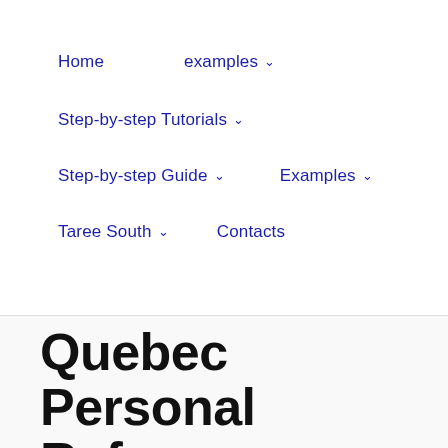Home    examples ∨    Step-by-step Tutorials ∨    Step-by-step Guide ∨    Examples ∨    Taree South ∨    Contacts
Quebec Personal Reference Letter